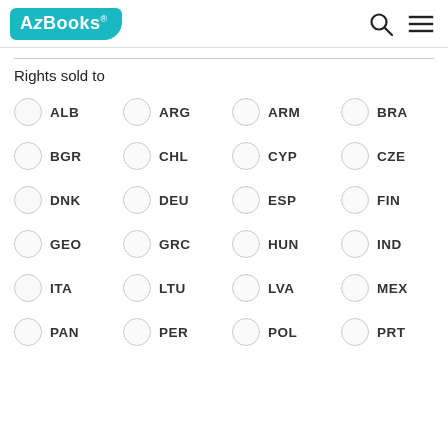AzBooks
Rights sold to
ALB
ARG
ARM
BRA
BGR
CHL
CYP
CZE
DNK
DEU
ESP
FIN
GEO
GRC
HUN
IND
ITA
LTU
LVA
MEX
PAN
PER
POL
PRT